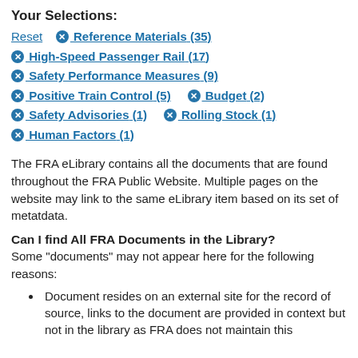Your Selections:
Reset  ✖ Reference Materials (35)
✖ High-Speed Passenger Rail (17)
✖ Safety Performance Measures (9)
✖ Positive Train Control (5)   ✖ Budget (2)
✖ Safety Advisories (1)   ✖ Rolling Stock (1)
✖ Human Factors (1)
The FRA eLibrary contains all the documents that are found throughout the FRA Public Website. Multiple pages on the website may link to the same eLibrary item based on its set of metatdata.
Can I find All FRA Documents in the Library?
Some "documents" may not appear here for the following reasons:
Document resides on an external site for the record of source, links to the document are provided in context but not in the library as FRA does not maintain this